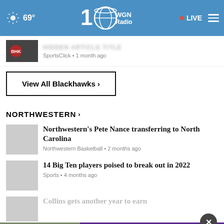69° WGN Radio • LIVE
[Figure (screenshot): Partially visible article thumbnail with sports team image]
SportsClick • 1 month ago
View All Blackhawks ›
NORTHWESTERN ›
Northwestern's Pete Nance transferring to North Carolina
Northwestern Basketball • 2 months ago
14 Big Ten players poised to break out in 2022
Sports • 4 months ago
Collins gets another year to earn
If you're noticing changes, it could be Alzheimer's. Visit a doctor together.